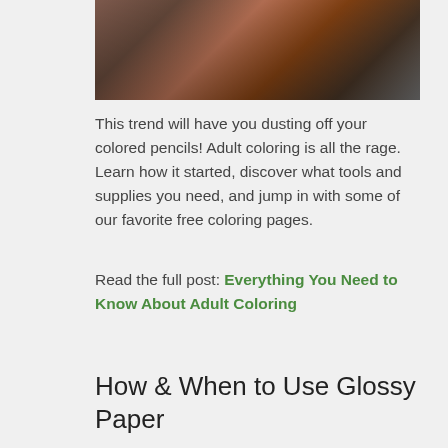[Figure (photo): Top portion of an image showing colored pencils and art supplies]
This trend will have you dusting off your colored pencils! Adult coloring is all the rage. Learn how it started, discover what tools and supplies you need, and jump in with some of our favorite free coloring pages.
Read the full post: Everything You Need to Know About Adult Coloring
How & When to Use Glossy Paper
[Figure (photo): Bottom portion of an image showing glossy paper with blue sky reflection]